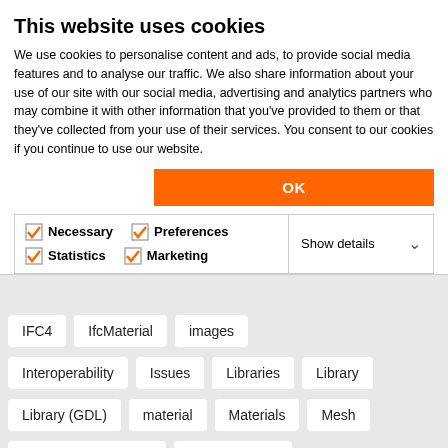This website uses cookies
We use cookies to personalise content and ads, to provide social media features and to analyse our traffic. We also share information about your use of our site with our social media, advertising and analytics partners who may combine it with other information that you’ve provided to them or that they’ve collected from your use of their services. You consent to our cookies if you continue to use our website.
OK
Necessary   Preferences   Statistics   Marketing   Show details
IFC4   IfcMaterial   images
Interoperability   Issues   Libraries   Library
Library (GDL)   material   Materials   Mesh
model view definition   open standard